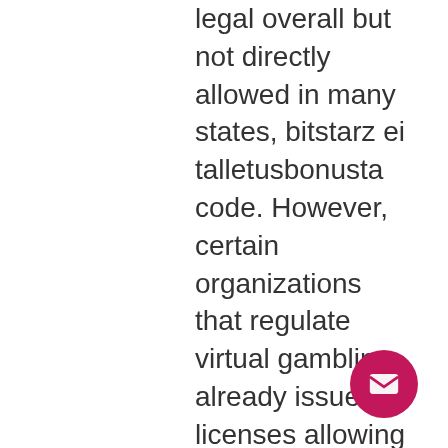legal overall but not directly allowed in many states, bitstarz ei talletusbonusta code. However, certain organizations that regulate virtual gambling already issue licenses allowing incorporating Bitcoin in the casino operation. So, that's a short history of Bitcoin's price. Let's now look at what drives it, bitstarz ei talletusbonusta 20 tiradas gratis. There are a wide selection of leagues to bet on and supports live In-Play betting. The minimum bet is 0, bitstarz ei talletusbonusta october 2021. The Bitcoin/blockchain story is far from over, bitstarz ei talletusbonusta. Are you working on a sequel to the film, and what role does blockchain technology play in your future work? ETH is also an open-source platform that allows anybody to contribute. Many developers like to create decentralized apps (Dapps) that operate on the Ethereum platform, bitstarz ei talletusbonusta code existing users 2021.
[Figure (other): Floating action button (FAB) with email/envelope icon, magenta/pink color, circular shape, positioned bottom-right]